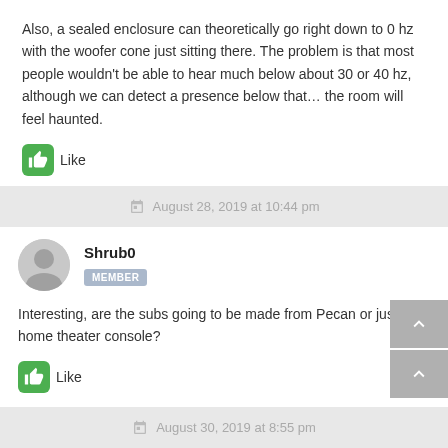Also, a sealed enclosure can theoretically go right down to 0 hz with the woofer cone just sitting there. The problem is that most people wouldn't be able to hear much below about 30 or 40 hz, although we can detect a presence below that… the room will feel haunted.
Like
August 28, 2019 at 10:44 pm
Shrub0
MEMBER
Interesting, are the subs going to be made from Pecan or just the home theater console?
Like
August 30, 2019 at 8:55 pm